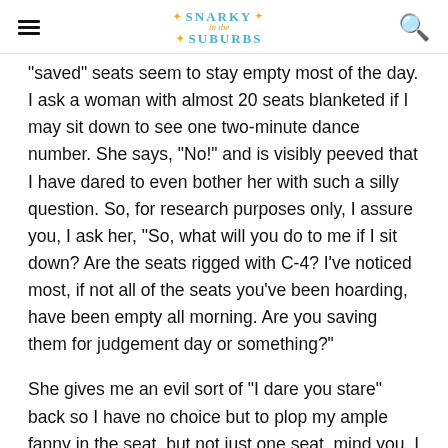Snarky in the Suburbs
"saved" seats seem to stay empty most of the day. I ask a woman with almost 20 seats blanketed if I may sit down to see one two-minute dance number. She says, "No!" and is visibly peeved that I have dared to even bother her with such a silly question. So, for research purposes only, I assure you, I ask her, "So, what will you do to me if I sit down? Are the seats rigged with C-4? I've noticed most, if not all of the seats you've been hoarding, have been empty all morning. Are you saving them for judgement day or something?"
She gives me an evil sort of "I dare you stare" back so I have no choice but to plop my ample fanny in the seat, but not just one seat, mind you, I do the butt seat straddle so I'm taking up two seats. She then grabs the